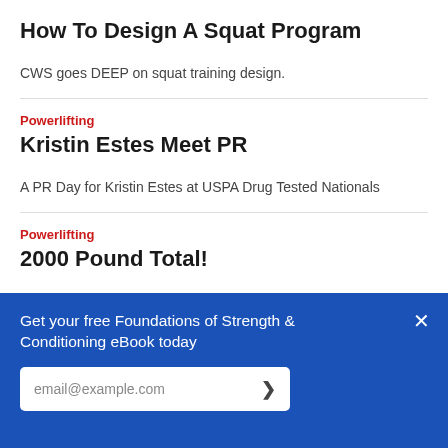How To Design A Squat Program
CWS goes DEEP on squat training design.
Powerlifting
Kristin Estes Meet PR
A PR Day for Kristin Estes at USPA Drug Tested Nationals
Powerlifting
2000 Pound Total!
Matt Sharafinski has added over 300 pounds to his total with JuggernautAI
Get your free Foundations of Strength & Conditioning eBook today
email@example.com